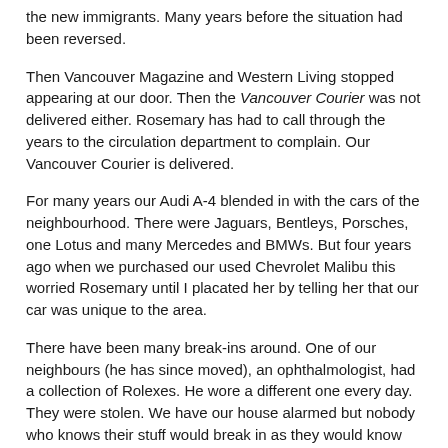the new immigrants. Many years before the situation had been reversed.
Then Vancouver Magazine and Western Living stopped appearing at our door. Then the Vancouver Courier was not delivered either. Rosemary has had to call through the years to the circulation department to complain. Our Vancouver Courier is delivered.
For many years our Audi A-4 blended in with the cars of the neighbourhood. There were Jaguars, Bentleys, Porsches, one Lotus and many Mercedes and BMWs. But four years ago when we purchased our used Chevrolet Malibu this worried Rosemary until I placated her by telling her that our car was unique to the area.
There have been many break-ins around. One of our neighbours (he has since moved), an ophthalmologist, had a collection of Rolexes. He wore a different one every day. They were stolen. We have our house alarmed but nobody who knows their stuff would break in as they would know we don't have huge flat-screen TVs or anything else electronic